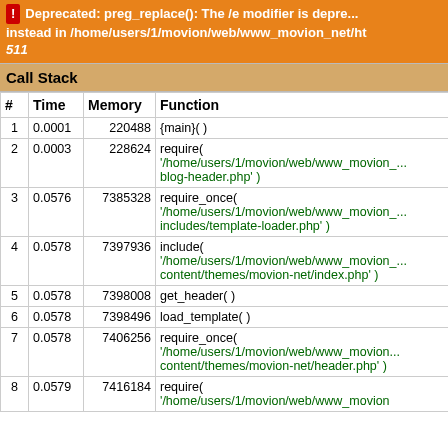Deprecated: preg_replace(): The /e modifier is deprecated, use preg_replace_callback instead in /home/users/1/movion/web/www_movion_net/ht... 511
Call Stack
| # | Time | Memory | Function |
| --- | --- | --- | --- |
| 1 | 0.0001 | 220488 | {main}( ) |
| 2 | 0.0003 | 228624 | require( '/home/users/1/movion/web/www_movion_... blog-header.php' ) |
| 3 | 0.0576 | 7385328 | require_once( '/home/users/1/movion/web/www_movion_... includes/template-loader.php' ) |
| 4 | 0.0578 | 7397936 | include( '/home/users/1/movion/web/www_movion_... content/themes/movion-net/index.php' ) |
| 5 | 0.0578 | 7398008 | get_header( ) |
| 6 | 0.0578 | 7398496 | load_template( ) |
| 7 | 0.0578 | 7406256 | require_once( '/home/users/1/movion/web/www_movion... content/themes/movion-net/header.php' ) |
| 8 | 0.0579 | 7416184 | require( '/home/users/1/movion/web/www_movion... |